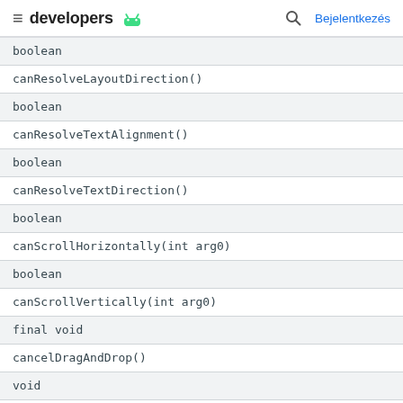developers  [android logo]   Bejelentkezés
| boolean |
| canResolveLayoutDirection() |
| boolean |
| canResolveTextAlignment() |
| boolean |
| canResolveTextDirection() |
| boolean |
| canScrollHorizontally(int arg0) |
| boolean |
| canScrollVertically(int arg0) |
| final void |
| cancelDragAndDrop() |
| void |